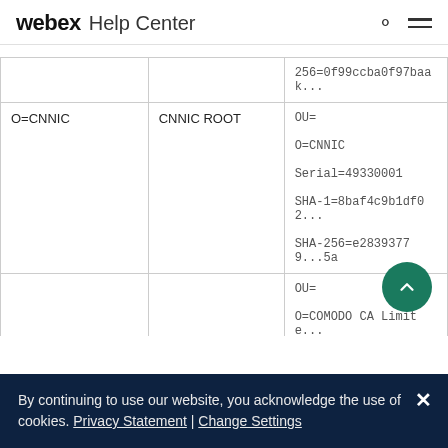webex Help Center
|  |  |  |
| --- | --- | --- |
|  |  | 256=0f99ccba0f97baak... |
| O=CNNIC | CNNIC ROOT | OU=

O=CNNIC

Serial=49330001

SHA-1=8baf4c9b1df02...

SHA-256=e28393779...5a |
|  |  | OU=

O=COMODO CA Limite... |
By continuing to use our website, you acknowledge the use of cookies. Privacy Statement | Change Settings